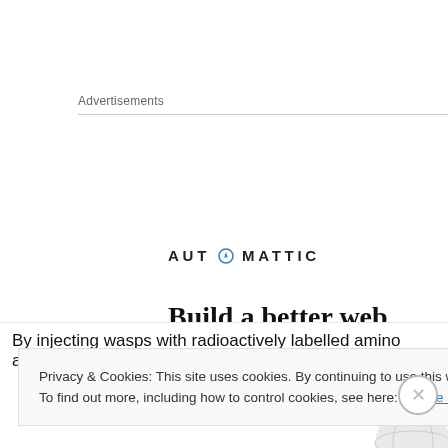Advertisements
[Figure (logo): Automattic logo with compass/O icon and tagline 'Build a better web and a better world.' advertisement banner with globe graphic]
By injecting wasps with radioactively labelled amino acids
Privacy & Cookies: This site uses cookies. By continuing to use this website, you agree to their use.
To find out more, including how to control cookies, see here: Cookie Policy